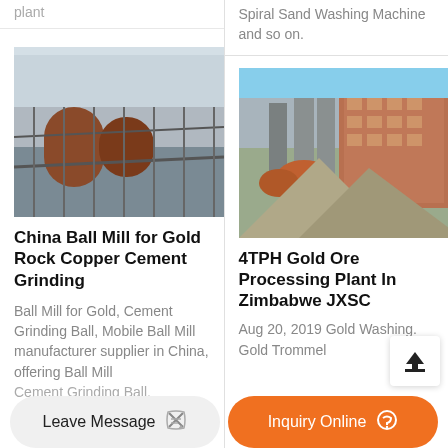plant
Spiral Sand Washing Machine and so on.
[Figure (photo): Industrial ball mill equipment at a mining site with red rotating drum and structural framework]
China Ball Mill for Gold Rock Copper Cement Grinding
Ball Mill for Gold, Cement Grinding Ball, Mobile Ball Mill manufacturer supplier in China, offering Ball Mill Cement Grinding Ball,
[Figure (photo): Gold ore processing plant facility in Zimbabwe showing industrial building, silos, and ore piles]
4TPH Gold Ore Processing Plant In Zimbabwe JXSC
Aug 20, 2019 Gold Washing. Gold Trommel